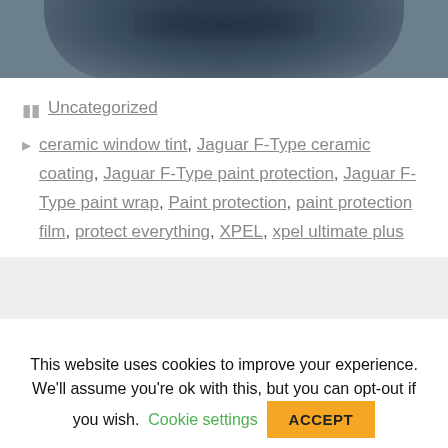[Figure (photo): Close-up photo of a dark navy/teal colored car panel or hood, partially visible at the top of the page]
Uncategorized
ceramic window tint, Jaguar F-Type ceramic coating, Jaguar F-Type paint protection, Jaguar F-Type paint wrap, Paint protection, paint protection film, protect everything, XPEL, xpel ultimate plus
This website uses cookies to improve your experience. We'll assume you're ok with this, but you can opt-out if you wish. Cookie settings ACCEPT